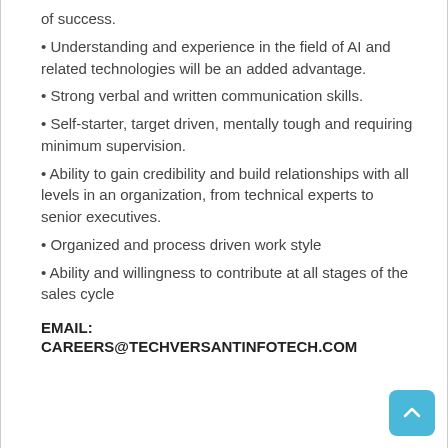of success.
• Understanding and experience in the field of AI and related technologies will be an added advantage.
• Strong verbal and written communication skills.
• Self-starter, target driven, mentally tough and requiring minimum supervision.
• Ability to gain credibility and build relationships with all levels in an organization, from technical experts to senior executives.
• Organized and process driven work style
• Ability and willingness to contribute at all stages of the sales cycle
EMAIL:
CAREERS@TECHVERSANTINFOTECH.COM